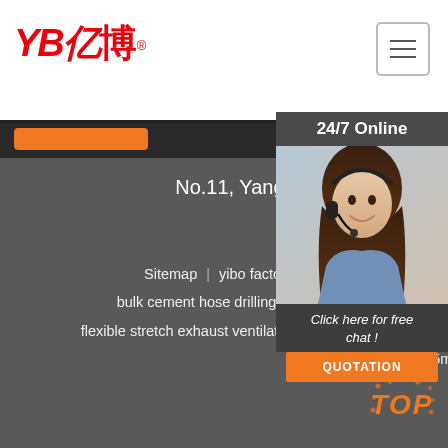YB亿博® — navigation header with menu button
[Figure (logo): YB亿博 logo in red with registered trademark symbol]
24/7 Online
[Figure (photo): Customer service woman wearing headset, smiling]
Click here for free chat !
QUOTATION
No.11, Yangshan Road, Shaoling District, Luoyang Province, China
Sitemap | yibo factory 1 8 high pressure braided rubber resin hose rubber hose bulk cement hose drilling high pressure supply resistant tear rubber plastic material spiral flexible stretch exhaust ventilation hose | plastic hydraulic hose sleeve spiral protective cover spiral wrap hydraulic hose 35mm hps-35